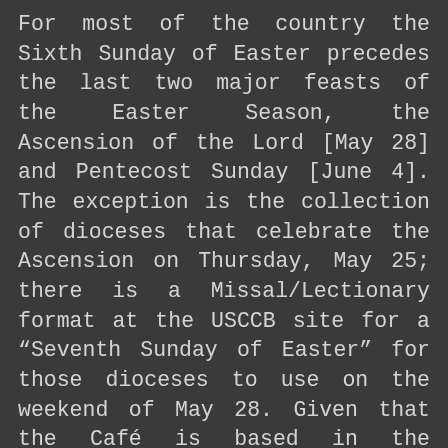For most of the country the Sixth Sunday of Easter precedes the last two major feasts of the Easter Season, the Ascension of the Lord [May 28] and Pentecost Sunday [June 4]. The exception is the collection of dioceses that celebrate the Ascension on Thursday, May 25; there is a Missal/Lectionary format at the USCCB site for a “Seventh Sunday of Easter” for those dioceses to use on the weekend of May 28. Given that the Café is based in the territory of the Diocese of Orlando, Florida, where the Ascension is celebrated on Sunday, I will use that dating format. “When in Rome...or Disneyworld.”
On the next Sunday of the E...